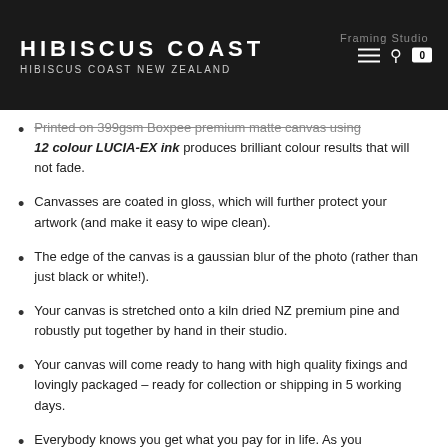HIBISCUS COAST — HIBISCUS COAST NEW ZEALAND — Framing Studio
Printed on 399gsm Boxpee premium matte canvas using 12 colour LUCIA-EX ink produces brilliant colour results that will not fade.
Canvasses are coated in gloss, which will further protect your artwork (and make it easy to wipe clean).
The edge of the canvas is a gaussian blur of the photo (rather than just black or white!).
Your canvas is stretched onto a kiln dried NZ premium pine and robustly put together by hand in their studio.
Your canvas will come ready to hang with high quality fixings and lovingly packaged – ready for collection or shipping in 5 working days.
Everybody knows you get what you pay for in life. As you